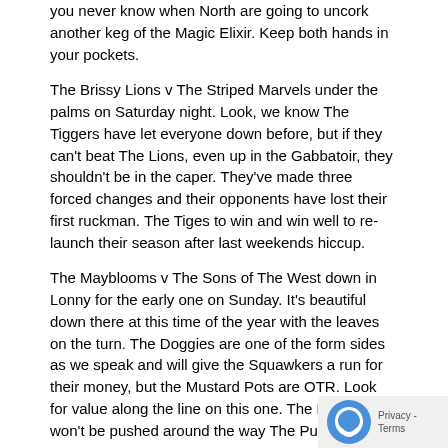you never know when North are going to uncork another keg of the Magic Elixir. Keep both hands in your pockets.
The Brissy Lions v The Striped Marvels under the palms on Saturday night. Look, we know The Tiggers have let everyone down before, but if they can't beat The Lions, even up in the Gabbatoir, they shouldn't be in the caper. They've made three forced changes and their opponents have lost their first ruckman. The Tiges to win and win well to re-launch their season after last weekends hiccup.
The Mayblooms v The Sons of The West down in Lonny for the early one on Sunday. It's beautiful down there at this time of the year with the leaves on the turn. The Doggies are one of the form sides as we speak and will give the Squawkers a run for their money, but the Mustard Pots are OTR. Look for value along the line on this one. The Bulldogs won't be pushed around the way The Pussies were.
The Moggies v The Sunbeams down at The Cattery latish on Sunday. Surely the Handbaggers can win this one. The Bagmen have got them in at $1.10, which is probably where they should be, but there's a world of difference between should and deserve in this context. That having been said, we'll go with them. The Metermaids look to be in more s**t than a whole flock of Werribee ducks right now.
The West Coast Budgies v The Mauve Miasma in Derby XLI (Or XX maybe – Ed) The Barry Crockers are on a mission in 2015. The Weggies